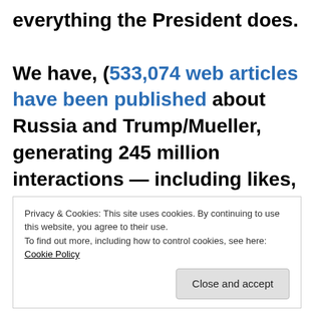everything the President does. We have, (533,074 web articles have been published about Russia and Trump/Mueller, generating 245 million interactions — including likes, comments and shares — on Twitter and Facebook)
Privacy & Cookies: This site uses cookies. By continuing to use this website, you agree to their use. To find out more, including how to control cookies, see here: Cookie Policy. Close and accept